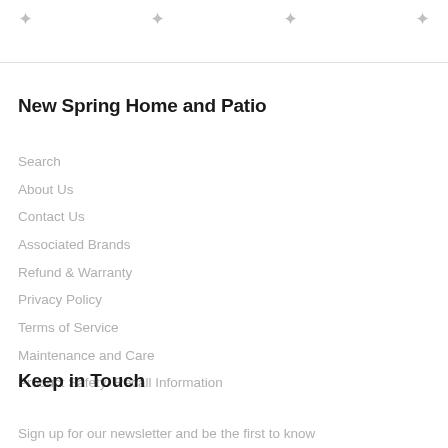New Spring Home and Patio
Search
About Us
Contact Us
Associated Brands
Refund & Warranty
Privacy Policy
Terms of Service
Maintenance and Care
Product Safety/ Recall Information
Keep in Touch
Sign up for our newsletter and be the first to know